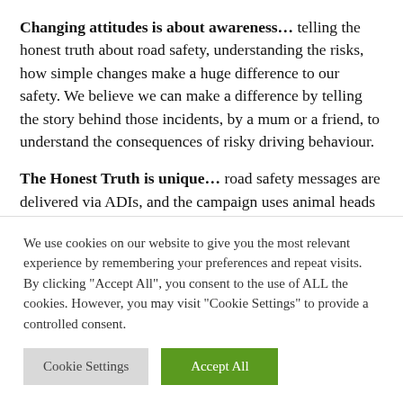Changing attitudes is about awareness… telling the honest truth about road safety, understanding the risks, how simple changes make a huge difference to our safety. We believe we can make a difference by telling the story behind those incidents, by a mum or a friend, to understand the consequences of risky driving behaviour.
The Honest Truth is unique… road safety messages are delivered via ADIs, and the campaign uses animal heads to typify risky driving behaviours. The original concept is now ten years old but research (including ongoing work with
We use cookies on our website to give you the most relevant experience by remembering your preferences and repeat visits. By clicking "Accept All", you consent to the use of ALL the cookies. However, you may visit "Cookie Settings" to provide a controlled consent.